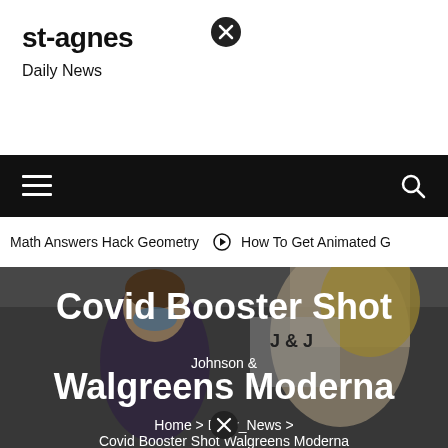st-agnes
Daily News
[Figure (screenshot): Navigation bar with hamburger menu icon on left and search icon on right, black background]
Math Answers Hack Geometry  ➔  How To Get Animated G
[Figure (photo): Photo of a young man receiving a vaccine injection from a blonde healthcare worker, with a Johnson & Johnson sign visible in the background]
Covid Booster Shot Walgreens Moderna
Home > Daily_News > Covid Booster Shot Walgreens Moderna